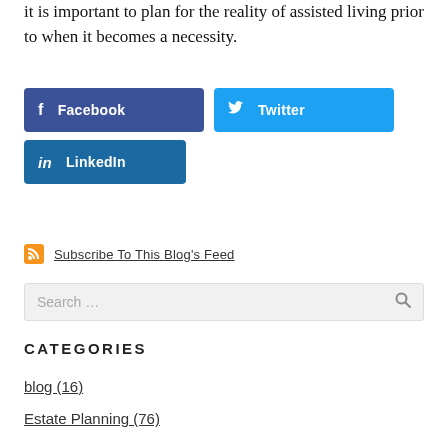it is important to plan for the reality of assisted living prior to when it becomes a necessity.
[Figure (other): Social sharing buttons: Facebook (dark blue), Twitter (light blue), LinkedIn (blue)]
Subscribe To This Blog's Feed
Search ...
CATEGORIES
blog (16)
Estate Planning (76)